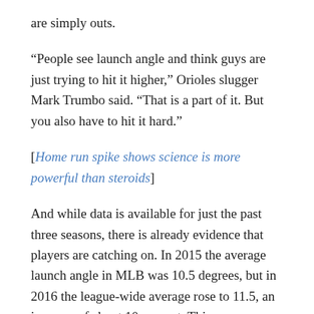are simply outs.
“People see launch angle and think guys are just trying to hit it higher,” Orioles slugger Mark Trumbo said. “That is a part of it. But you also have to hit it hard.”
[Home run spike shows science is more powerful than steroids]
And while data is available for just the past three seasons, there is already evidence that players are catching on. In 2015 the average launch angle in MLB was 10.5 degrees, but in 2016 the league-wide average rose to 11.5, an increase of about 10 percent. This year, through May 21, the league average is up to 12.8